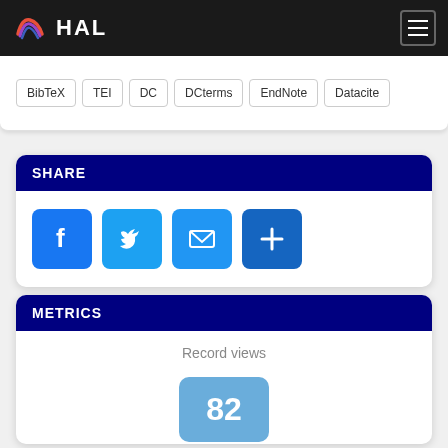HAL
BibTeX | TEI | DC | DCterms | EndNote | Datacite
SHARE
[Figure (other): Share icons: Facebook, Twitter, Email, and a plus/more button]
METRICS
Record views
82